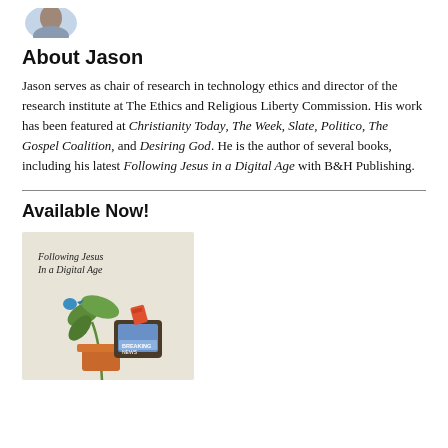[Figure (photo): Partial profile photo of Jason, cropped at top of page]
About Jason
Jason serves as chair of research in technology ethics and director of the research institute at The Ethics and Religious Liberty Commission. His work has been featured at Christianity Today, The Week, Slate, Politico, The Gospel Coalition, and Desiring God. He is the author of several books, including his latest Following Jesus in a Digital Age with B&H Publishing.
Available Now!
[Figure (photo): Book cover image of 'Following Jesus in a Digital Age' showing illustrated plants, technology devices, and news imagery on a beige background]